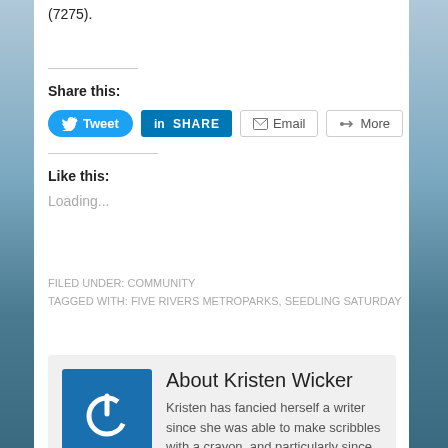(7275).
Share this:
[Figure (infographic): Social share buttons: Tweet (Twitter/blue pill), SHARE (LinkedIn/blue square), Email (outline), More (outline)]
Like this:
Loading...
FILED UNDER: COMMUNITY
TAGGED WITH: FIVE RIVERS METROPARKS, SEEDLING SATURDAY
About Kristen Wicker
Kristen has fancied herself a writer since she was able to make scribbles with a crayon, and particularly since